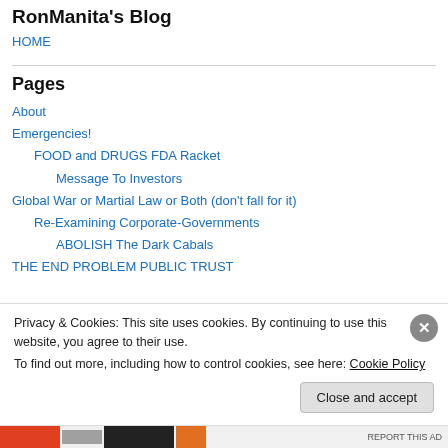RonManita's Blog
HOME
Pages
About
Emergencies!
FOOD and DRUGS FDA Racket
Message To Investors
Global War or Martial Law or Both (don't fall for it)
Re-Examining Corporate-Governments
ABOLISH The Dark Cabals
Privacy & Cookies: This site uses cookies. By continuing to use this website, you agree to their use.
To find out more, including how to control cookies, see here: Cookie Policy
Close and accept